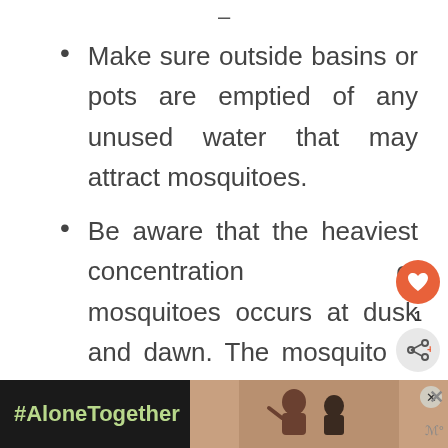Make sure outside basins or pots are emptied of any unused water that may attract mosquitoes.
Be aware that the heaviest concentration of mosquitoes occurs at dusk and dawn. The mosquito is a night-time flyer. You may decide to limit your
[Figure (infographic): Social media sidebar with heart/like button showing count of 1 and a share button]
[Figure (infographic): Ad banner at bottom: #AloneTogether hashtag in green on dark background with photo of people and close buttons]